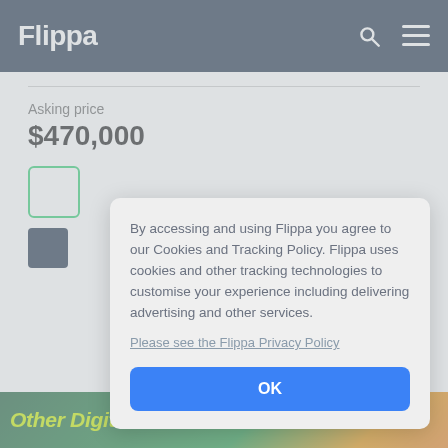Flippa
Asking price
$470,000
By accessing and using Flippa you agree to our Cookies and Tracking Policy. Flippa uses cookies and other tracking technologies to customise your experience including delivering advertising and other services.
Please see the Flippa Privacy Policy
OK